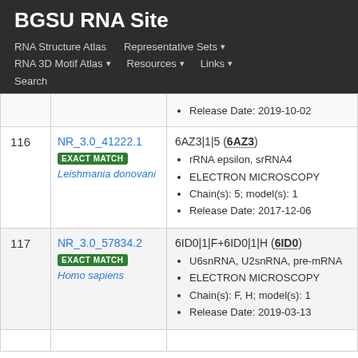BGSU RNA Site
RNA Structure Atlas | Representative Sets ▾ | RNA 3D Motif Atlas ▾ | Resources ▾ | Links ▾ | Search
| # | ID | Details |
| --- | --- | --- |
|  |  | Release Date: 2019-10-02 |
| 116 | NR_3.0_41222.1 EXACT MATCH Leishmania donovani | 6AZ3|1|5 (6AZ3) • rRNA epsilon, srRNA4 • ELECTRON MICROSCOPY • Chain(s): 5; model(s): 1 • Release Date: 2017-12-06 |
| 117 | NR_3.0_57834.2 EXACT MATCH Homo sapiens | 6ID0|1|F+6ID0|1|H (6ID0) • U6snRNA, U2snRNA, pre-mRNA • ELECTRON MICROSCOPY • Chain(s): F, H; model(s): 1 • Release Date: 2019-03-13 |